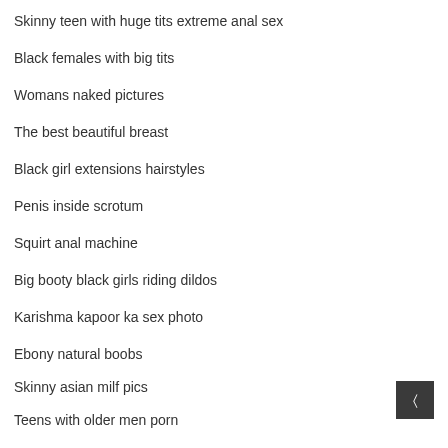Skinny teen with huge tits extreme anal sex
Black females with big tits
Womans naked pictures
The best beautiful breast
Black girl extensions hairstyles
Penis inside scrotum
Squirt anal machine
Big booty black girls riding dildos
Karishma kapoor ka sex photo
Ebony natural boobs
Skinny asian milf pics
Teens with older men porn